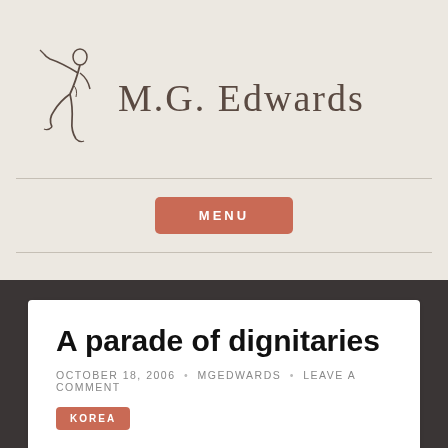[Figure (illustration): Sketched figure of a dancing/leaping person holding a pen or quill, used as part of the M.G. Edwards blog logo]
M.G. Edwards
MENU
A parade of dignitaries
OCTOBER 18, 2006 • MGEDWARDS • LEAVE A COMMENT
KOREA